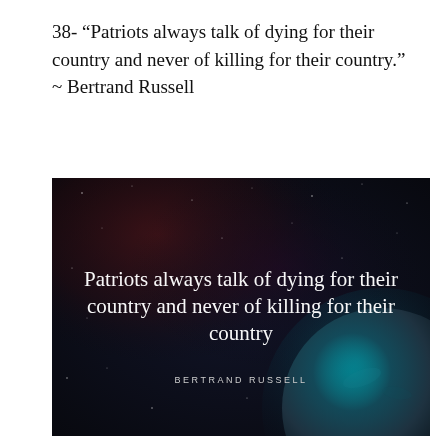38- “Patriots always talk of dying for their country and never of killing for their country.” ~ Bertrand Russell
[Figure (illustration): Dark space-themed background image with nebula clouds in red/dark tones, a planet with teal glow in the bottom right corner, and white serif text displaying the Bertrand Russell quote centered over the image, with 'BERTRAND RUSSELL' in small spaced caps below.]